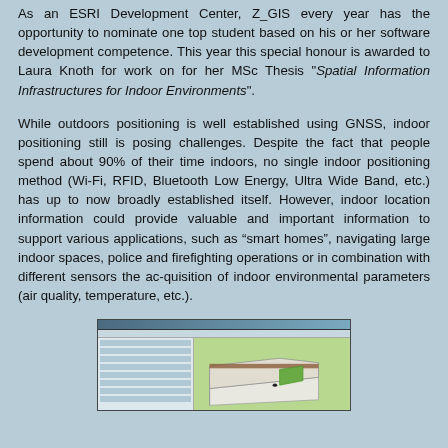As an ESRI Development Center, Z_GIS every year has the opportunity to nominate one top student based on his or her software development competence. This year this special honour is awarded to Laura Knoth for work on for her MSc Thesis "Spatial Information Infrastructures for Indoor Environments".
While outdoors positioning is well established using GNSS, indoor positioning still is posing challenges. Despite the fact that people spend about 90% of their time indoors, no single indoor positioning method (Wi-Fi, RFID, Bluetooth Low Energy, Ultra Wide Band, etc.) has up to now broadly established itself. However, indoor location information could provide valuable and important information to support various applications, such as “smart homes”, navigating large indoor spaces, police and firefighting operations or in combination with different sensors the ac-quisition of indoor environmental parameters (air quality, temperature, etc.).
[Figure (screenshot): Screenshot of a GIS software application showing a 3D indoor model with a panel on the left and a 3D visualization of a building interior on the right.]